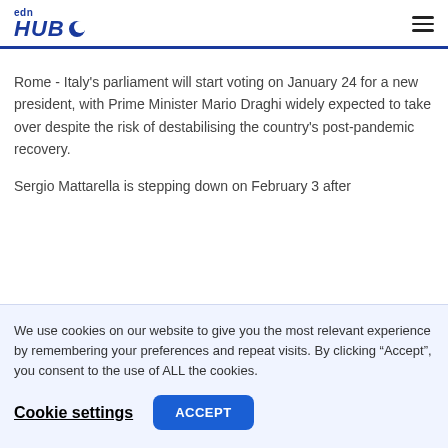edn HUB
Rome - Italy's parliament will start voting on January 24 for a new president, with Prime Minister Mario Draghi widely expected to take over despite the risk of destabilising the country's post-pandemic recovery.
Sergio Mattarella is stepping down on February 3 after
We use cookies on our website to give you the most relevant experience by remembering your preferences and repeat visits. By clicking “Accept”, you consent to the use of ALL the cookies.
Cookie settings  ACCEPT